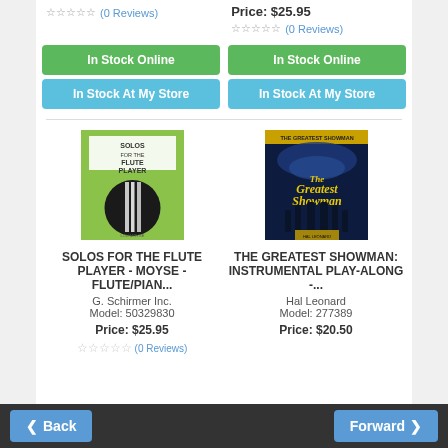(0 Reviews)
Price: $25.95
(0 Reviews)
In Stock Online
In Stock At My Store
In Stock Online
In Stock At My Store
[Figure (photo): Book cover: Solos for the Flute Player - Moyse - green cover with circular flute image]
SOLOS FOR THE FLUTE PLAYER - MOYSE - FLUTE/PIAN...
G. Schirmer Inc.
Model: 50329830
Price: $25.95
(0 Reviews)
[Figure (photo): Movie/music book cover: The Greatest Showman - Instrumental Play-Along - dark blue concert photo]
THE GREATEST SHOWMAN: INSTRUMENTAL PLAY-ALONG -...
Hal Leonard
Model: 277389
Price: $20.50
Back | Forward